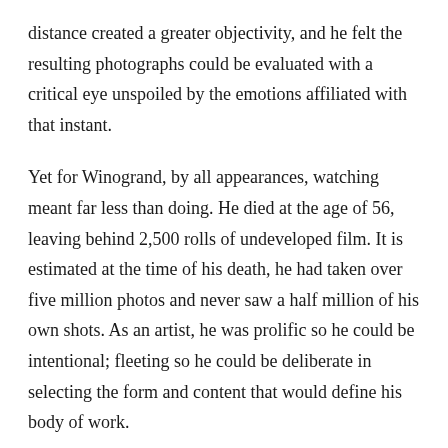distance created a greater objectivity, and he felt the resulting photographs could be evaluated with a critical eye unspoiled by the emotions affiliated with that instant.
Yet for Winogrand, by all appearances, watching meant far less than doing. He died at the age of 56, leaving behind 2,500 rolls of undeveloped film. It is estimated at the time of his death, he had taken over five million photos and never saw a half million of his own shots. As an artist, he was prolific so he could be intentional; fleeting so he could be deliberate in selecting the form and content that would define his body of work.
SFMOMA's curatorial research undertaken for this exhibition allows the public to see for the first time the expansive breadth of Garry Winogrand's photos of post-World War II American life in all its